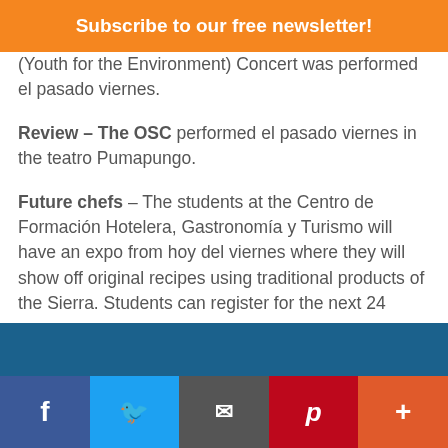Subscribe to our free newsletter!
(Youth for the Environment) Concert was performed el pasado viernes.
Review – The OSC performed el pasado viernes in the teatro Pumapungo.
Future chefs – The students at the Centro de Formación Hotelera, Gastronomía y Turismo will have an expo from hoy del viernes where they will show off original recipes using traditional products of the Sierra. Students can register for the next 24